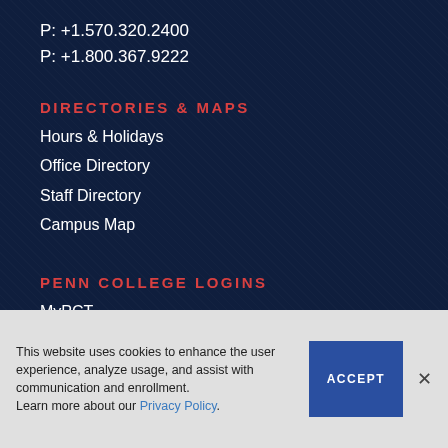P: +1.570.320.2400
P: +1.800.367.9222
DIRECTORIES & MAPS
Hours & Holidays
Office Directory
Staff Directory
Campus Map
PENN COLLEGE LOGINS
MyPCT
SIS
EIS
Bl...
This website uses cookies to enhance the user experience, analyze usage, and assist with communication and enrollment. Learn more about our Privacy Policy.